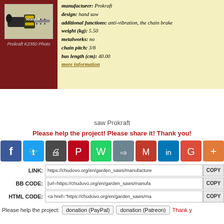[Figure (photo): Prokraft K2350 chainsaw photo on dark red background]
Prokraft K2350 Photo
manufacturer: Prokraft
design: hand saw
additional functions: anti-vibration, the chain brake
weight (kg): 5.50
metalworks: no
chain pitch: 3/8
bus length (cm): 40.00
more information
saw Prokraft
Please help the project! Please share it! Thank you!
LINK: https://chudovo.org/en/garden_saws/manufacture
BB CODE: [url=https://chudovo.org/en/garden_saws/manufa
HTML CODE: <a href="https://chudovo.org/en/garden_saws/ma
Please help the project: donation (PayPal) donation (Patreon) Thank you